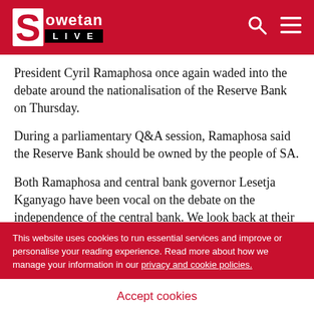Sowetan LIVE
President Cyril Ramaphosa once again waded into the debate around the nationalisation of the Reserve Bank on Thursday.
During a parliamentary Q&A session, Ramaphosa said the Reserve Bank should be owned by the people of SA.
Both Ramaphosa and central bank governor Lesetja Kganyago have been vocal on the debate on the independence of the central bank. We look back at their various statements on the matter:
This website uses cookies to run essential services and improve or personalise your reading experience. Read more about how we manage your information in our privacy and cookie policies.
Accept cookies